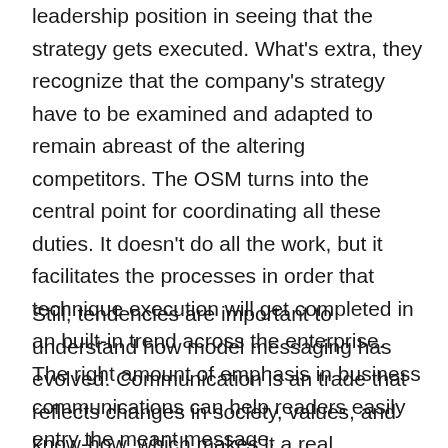leadership position in seeing that the strategy gets executed. What's extra, they recognize that the company's strategy have to be examined and adapted to remain abreast of the altering competitors. The OSM turns into the central point for coordinating all these duties. It doesn't do all the work, but it facilitates the processes in order that technique execution will get completed in an built-in trend across the enterprise. The right amount of emphasis in business communications can help readers easily entry the meant message.
Still, tendencies are important to understand how model messaging has evolved. Communication is an trade that reflects changes in society, values, and know-how, which makes it a real laboratory of practices. The market always brings good developments that can be of nice help to your model. However, you shouldn't see